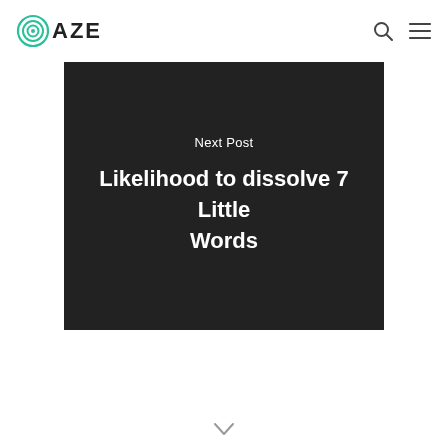OAZE
[Figure (screenshot): Dark banner card with 'Next Post' label and title 'Likelihood to dissolve 7 Little Words' centered in white text on dark background]
Next Post
Likelihood to dissolve 7 Little Words